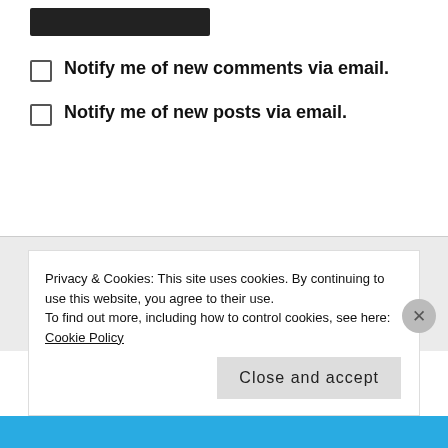[Figure (other): Black rounded rectangle button at top]
Notify me of new comments via email.
Notify me of new posts via email.
LET'S CONNECT!
[Figure (other): Three red social media icons: Facebook, Twitter, Instagram]
Privacy & Cookies: This site uses cookies. By continuing to use this website, you agree to their use.
To find out more, including how to control cookies, see here: Cookie Policy
Close and accept